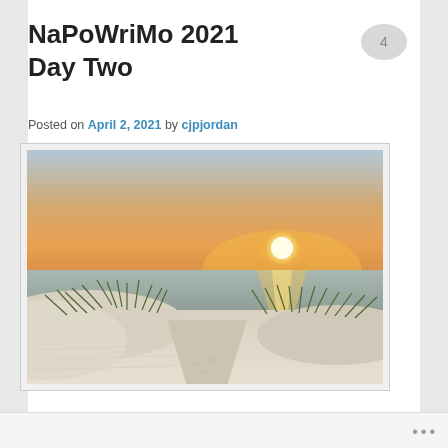NaPoWriMo 2021 Day Two
Posted on April 2, 2021 by cjpjordan
[Figure (photo): Beach sunset photo: white sandy dunes with beach grass in foreground, calm water in middle ground, large orange sun setting on horizon with warm golden sky]
Follow ...